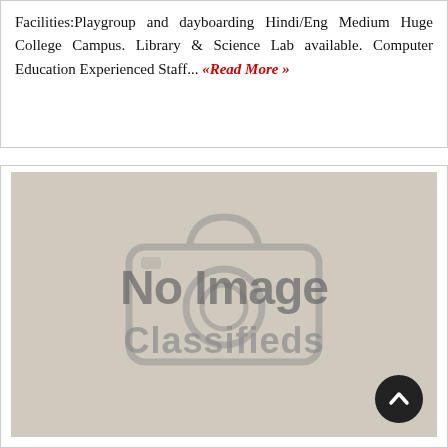Facilities:Playgroup and dayboarding Hindi/Eng Medium Huge College Campus. Library & Science Lab available. Computer Education Experienced Staff... «Read More »
[Figure (photo): Placeholder image with 'No Image Classifieds' watermark and camera icon on a beige/tan background, with a dark circular scroll-to-top button in the bottom right corner.]